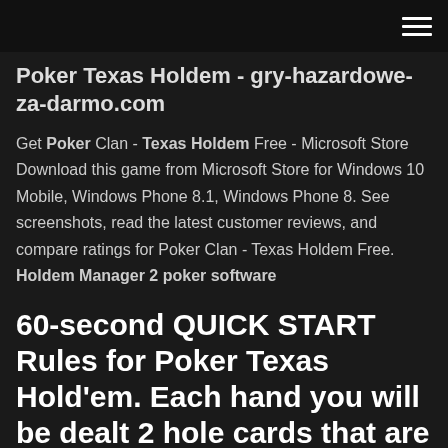☰ menu icon
Poker Texas Holdem - gry-hazardowe-za-darmo.com
Get Poker Clan - Texas Holdem Free - Microsoft Store Download this game from Microsoft Store for Windows 10 Mobile, Windows Phone 8.1, Windows Phone 8. See screenshots, read the latest customer reviews, and compare ratings for Poker Clan - Texas Holdem Free. Holdem Manager 2 poker software
60-second QUICK START Rules for Poker Texas Hold'em. Each hand you will be dealt 2 hole cards that are only visible to you. The objective of the poker